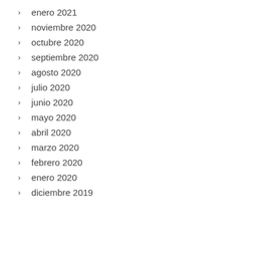enero 2021
noviembre 2020
octubre 2020
septiembre 2020
agosto 2020
julio 2020
junio 2020
mayo 2020
abril 2020
marzo 2020
febrero 2020
enero 2020
diciembre 2019